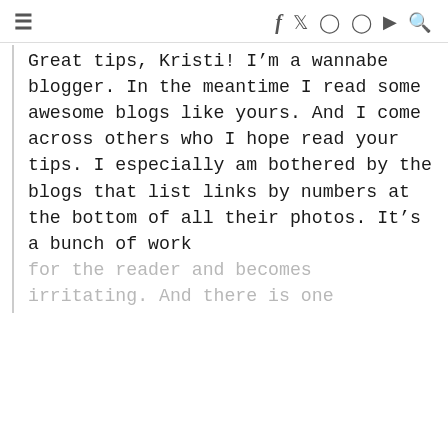≡  f  t  ⊙  ⊕  ▶  🔍
Great tips, Kristi! I'm a wannabe blogger. In the meantime I read some awesome blogs like yours. And I come across others who I hope read your tips. I especially am bothered by the blogs that list links by numbers at the bottom of all their photos. It's a bunch of work for the reader and becomes irritating. And there is one